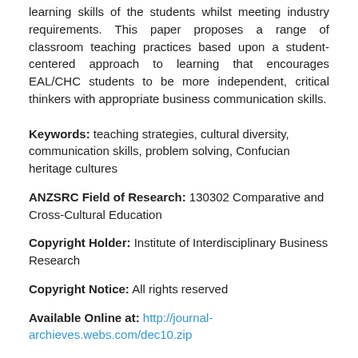learning skills of the students whilst meeting industry requirements. This paper proposes a range of classroom teaching practices based upon a student-centered approach to learning that encourages EAL/CHC students to be more independent, critical thinkers with appropriate business communication skills.
Keywords: teaching strategies, cultural diversity, communication skills, problem solving, Confucian heritage cultures
ANZSRC Field of Research: 130302 Comparative and Cross-Cultural Education
Copyright Holder: Institute of Interdisciplinary Business Research
Copyright Notice: All rights reserved
Available Online at: http://journal-archieves.webs.com/dec10.zip
Rights: This digital work is protected by copyright. It may be